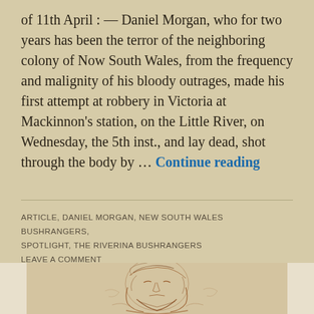of 11th April : — Daniel Morgan, who for two years has been the terror of the neighboring colony of Now South Wales, from the frequency and malignity of his bloody outrages, made his first attempt at robbery in Victoria at Mackinnon's station, on the Little River, on Wednesday, the 5th inst., and lay dead, shot through the body by … Continue reading
ARTICLE, DANIEL MORGAN, NEW SOUTH WALES BUSHRANGERS, SPOTLIGHT, THE RIVERINA BUSHRANGERS
LEAVE A COMMENT
[Figure (illustration): A sepia-toned sketch/etching of a bearded man's head and upper body, drawn in loose expressive lines with reddish-brown ink on a light background.]